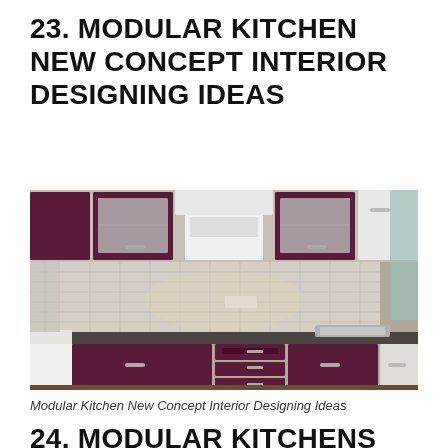23. MODULAR KITCHEN NEW CONCEPT INTERIOR DESIGNING IDEAS
[Figure (photo): Modular kitchen interior with dark purple/maroon glossy cabinets (upper and lower), white chimney hood above the cooktop, tiled backsplash, dark countertop, stainless steel sink, and a white appliance (possibly dishwasher) on the left side.]
Modular Kitchen New Concept Interior Designing Ideas
24. MODULAR KITCHENS KITCHEN